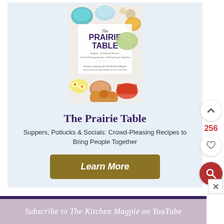[Figure (illustration): Book cover of 'The Prairie Table: Suppers, Potlucks & Socials: Crowd-Pleasing Recipes to Bring People Together' by Karlynn Johnston, showing an overhead view of various food dishes and appetizers on a white background.]
The Prairie Table
Suppers, Potlucks & Socials: Crowd-Pleasing Recipes to Bring People Together
Learn More
256
Subscribe to The Kitchen Magpie on YouTube